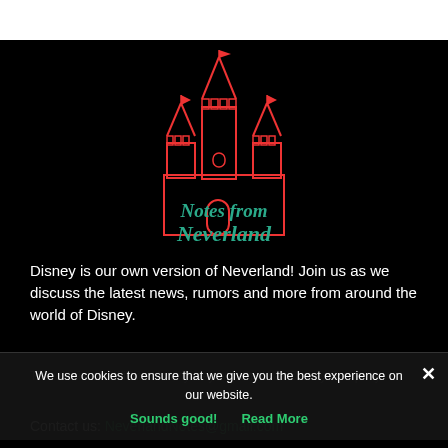[Figure (logo): Notes from Neverland logo: red outline castle illustration with teal cursive text reading 'Notes from Neverland' below it, on black background]
Disney is our own version of Neverland! Join us as we discuss the latest news, rumors and more from around the world of Disney.
This site is not affiliated in any way with the Walt Disney Company.
Contact us: NeverlandNotes@gmail.com
We use cookies to ensure that we give you the best experience on our website. Sounds good! Read More